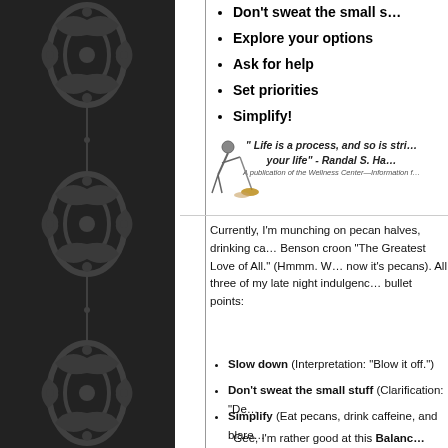[Figure (illustration): Dark ornamental damask pattern on dark background filling left panel]
Don't sweat the small stuff
Explore your options
Ask for help
Set priorities
Simplify!
" Life is a process, and so is striving for balance in your life" - Randal S. Ha...
A publication of the Wellness Center—Information f...
[Figure (illustration): Small illustration of a person sweeping or cleaning]
Currently, I'm munching on pecan halves, drinking ca... Benson croon "The Greatest Love of All." (Hmmm. W... now it's pecans). All three of my late night indulgenc... bullet points:
Slow down (Interpretation: "Blow it off.")
Don't sweat the small stuff (Clarification: "De...
Simplify (Eat pecans, drink caffeine, and blare...
Gee, I'm rather good at this Balanc...